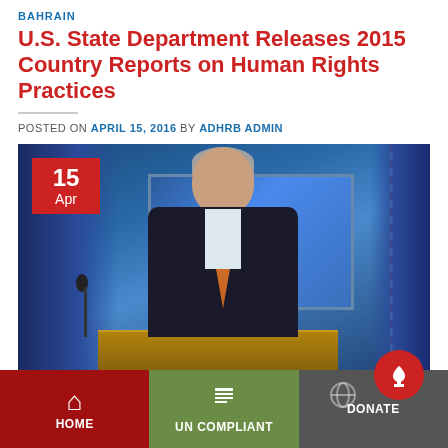BAHRAIN
U.S. State Department Releases 2015 Country Reports on Human Rights Practices
POSTED ON APRIL 15, 2016 BY ADHRB ADMIN
[Figure (photo): Man in dark suit with orange tie speaking at a podium with blue curtain backdrop and screen behind him. A date badge shows '15 Apr' in the upper left corner.]
HOME | UN COMPLIANT | DONATE